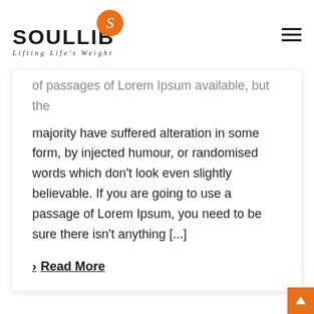[Figure (logo): SOULLIB logo with orange circle containing letter S, bold text SOULLIB, italic tagline Lifting Life's Weight, and hamburger menu icon top right]
of passages of Lorem Ipsum available, but the majority have suffered alteration in some form, by injected humour, or randomised words which don't look even slightly believable. If you are going to use a passage of Lorem Ipsum, you need to be sure there isn't anything [...]
> Read More